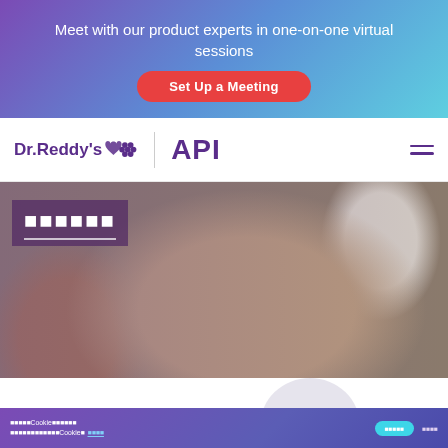Meet with our product experts in one-on-one virtual sessions
Set Up a Meeting
[Figure (logo): Dr. Reddy's logo with heart and grape cluster icon, followed by API text and hamburger menu]
[Figure (photo): Medical professional and patient hands, one holding a green pen, with a blurred hospital background. Purple-toned hero section with redacted title text overlay.]
我们使用Cookie来改善您的使用体验 我们需要您允许我们使用Cookie。 查看详情
接受所有Cookie
拒绝所有